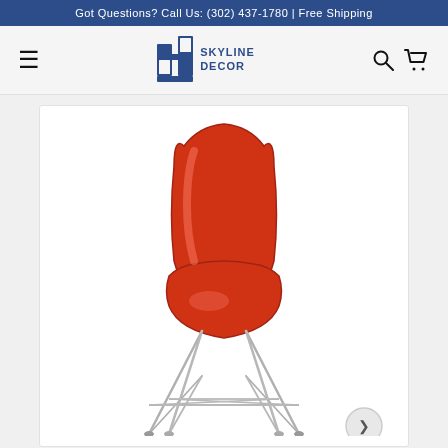Got Questions? Call Us: (302) 437-1780 | Free Shipping
[Figure (logo): Skyline Decor logo with stylized H building icon and text SKYLINE DECOR]
[Figure (photo): Red transparent molded plastic Eames-style side chair with chrome wire Eiffel base, shown on white background]